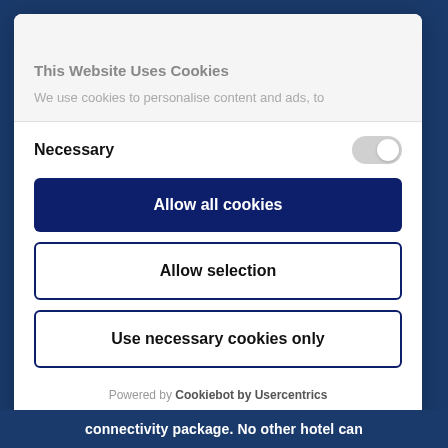This Website Uses Cookies
We use cookies to personalise content and ads, to
Necessary
Allow all cookies
Allow selection
Use necessary cookies only
Powered by Cookiebot by Usercentrics
connectivity package. No other hotel can